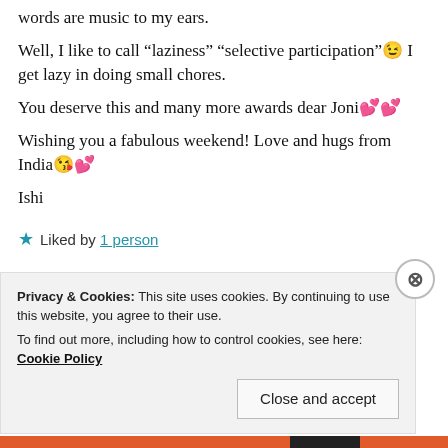words are music to my ears.
Well, I like to call “laziness” “selective participation”😉 I get lazy in doing small chores.
You deserve this and many more awards dear Joni💕💕
Wishing you a fabulous weekend! Love and hugs from India😘💕
Ishi
★ Liked by 1 person
REPLY
Privacy & Cookies: This site uses cookies. By continuing to use this website, you agree to their use. To find out more, including how to control cookies, see here: Cookie Policy
Close and accept